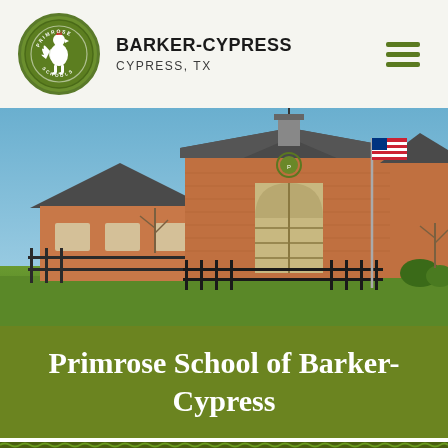BARKER-CYPRESS CYPRESS, TX
[Figure (photo): Exterior photo of Primrose School of Barker-Cypress, a brick building with gabled roofs, an American flag on a flagpole, iron fence, and blue sky background]
Primrose School of Barker-Cypress